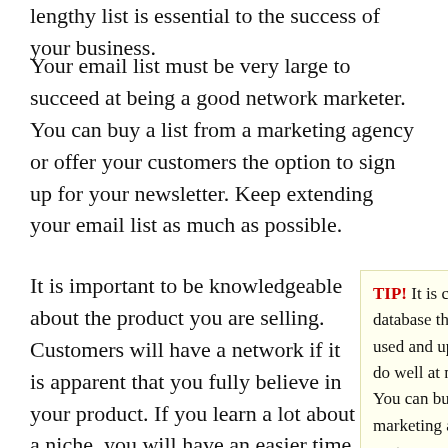lengthy list is essential to the success of your business.
Your email list must be very large to succeed at being a good network marketer. You can buy a list from a marketing agency or offer your customers the option to sign up for your newsletter. Keep extending your email list as much as possible.
It is important to be knowledgeable about the product you are selling. Customers will have a network if it is apparent that you fully believe in your product. If you learn a lot about a niche, you will have an easier time being truthful and genuine when giving reviews to future client.
TIP! It is crucial to have an email database that is constantly being used and updated if you want to do well at network marketing. You can buy a list from a marketing agency or offer your customers